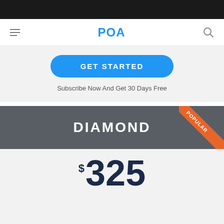POA
GET STARTED
Subscribe Now And Get 30 Days Free
DIAMOND
POPULAR
$325